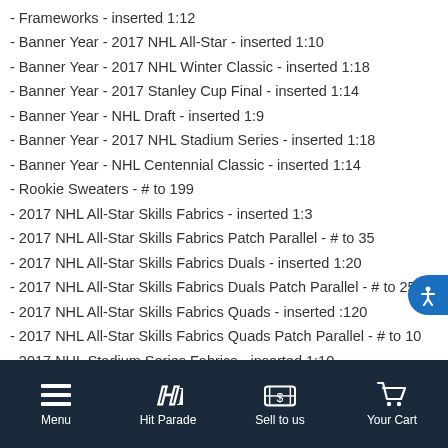- Frameworks - inserted 1:12
- Banner Year - 2017 NHL All-Star - inserted 1:10
- Banner Year - 2017 NHL Winter Classic - inserted 1:18
- Banner Year - 2017 Stanley Cup Final - inserted 1:14
- Banner Year - NHL Draft - inserted 1:9
- Banner Year - 2017 NHL Stadium Series - inserted 1:18
- Banner Year - NHL Centennial Classic - inserted 1:14
- Rookie Sweaters - # to 199
- 2017 NHL All-Star Skills Fabrics - inserted 1:3
- 2017 NHL All-Star Skills Fabrics Patch Parallel - # to 35
- 2017 NHL All-Star Skills Fabrics Duals - inserted 1:20
- 2017 NHL All-Star Skills Fabrics Duals Patch Parallel - # to 25
- 2017 NHL All-Star Skills Fabrics Quads - inserted :120
- 2017 NHL All-Star Skills Fabrics Quads Patch Parallel - # to 10
- 2017 NHL Stadium Series Fabrics - inserted 1:10
- 2017 NHL Stadium Series Fabrics Patch Parallel - # to 35
- 2017 NHL Stadium Series Fabrics Quads - inserted 1:120
- 2017 NHL Stadium Series Fabrics Quads Patch Parallel - (cut off)
Menu | Hit Parade | Sell to us | Your Cart